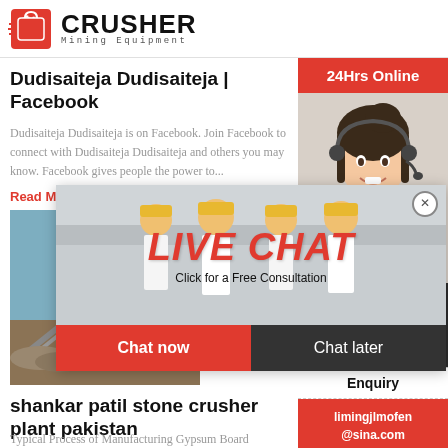[Figure (logo): Crusher Mining Equipment logo with red shopping bag icon and bold CRUSHER text, Mining Equipment subtitle]
Dudisaiteja Dudisaiteja | Facebook
Dudisaiteja Dudisaiteja is on Facebook. Join Facebook to connect with Dudisaiteja Dudisaiteja and others you may know. Facebook gives people the power to...
Read More
[Figure (photo): Construction site with stone crusher machinery and gravel pile]
[Figure (infographic): Live Chat popup overlay showing workers in hard hats, LIVE CHAT text in red italic, Click for a Free Consultation, with Chat now and Chat later buttons]
shankar patil stone crusher plant pakistan
Typical Process of Manufacturing Gypsum Board MaterialsCrusherGrinding MillCalcineshankar patil stone crusher plant. Live Chat; ravi teja stone ...
Read More
24Hrs Online
[Figure (photo): Asian woman customer service representative with headset smiling]
Need questions & suggestion?
Chat Now
Enquiry
limingjlmofen@sina.com